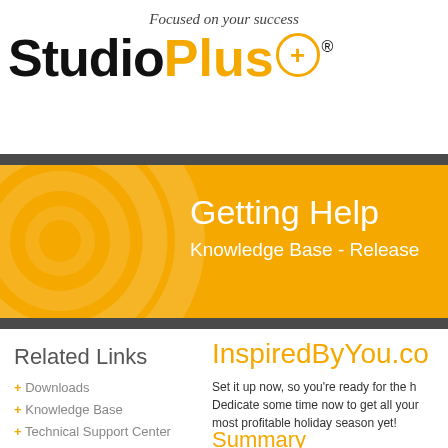Focused on your success
[Figure (logo): StudioPlus+ logo with orange Plus text and circled plus icon]
[Figure (infographic): Orange banner with decorative circles, title 'Getting Help' and subtitle 'Knowledge Base - Release']
Related Links
+ Downloads
+ Knowledge Base
+ Technical Support Center
InspiredByYou.co
Set it up now, so you're ready for the h... Dedicate some time now to get all your... most profitable holiday season yet!
Summary